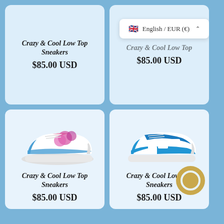[Figure (screenshot): E-commerce product grid showing sneaker products with language/currency selector overlay and chat bubble widget]
Crazy & Cool Low Top Sneakers
$85.00 USD
Crazy & Cool Low Top Sneakers (partially hidden by language dropdown)
$85.00 USD
[Figure (photo): Pink and blue artistic custom Nike Air Force 1 sneaker]
Crazy & Cool Low Top Sneakers
$85.00 USD
[Figure (photo): Blue geometric pattern custom Nike sneaker]
Crazy & Cool Low Top Sneakers
$85.00 USD (partially hidden by chat bubble)